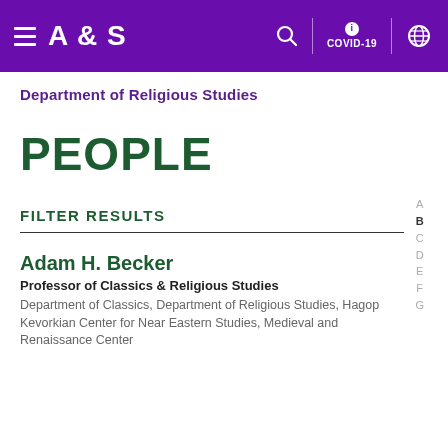A & S  [navigation bar with hamburger menu, search, COVID-19, globe icons]
Department of Religious Studies
PEOPLE
FILTER RESULTS
Adam H. Becker
Professor of Classics & Religious Studies
Department of Classics, Department of Religious Studies, Hagop Kevorkian Center for Near Eastern Studies, Medieval and Renaissance Center